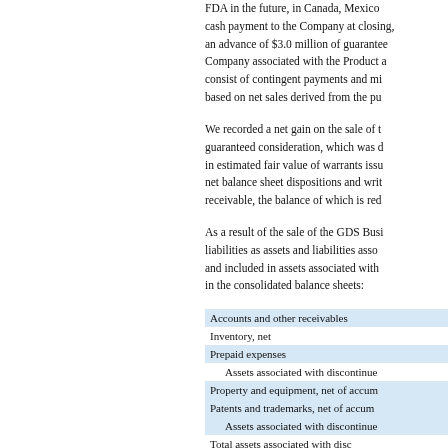FDA in the future, in Canada, Mexico, cash payment to the Company at closing, an advance of $3.0 million of guaranteed Company associated with the Product, consist of contingent payments and milestones based on net sales derived from the purchase.
We recorded a net gain on the sale of the guaranteed consideration, which was d in estimated fair value of warrants issued, net balance sheet dispositions and write-offs receivable, the balance of which is reduced.
As a result of the sale of the GDS Business, liabilities as assets and liabilities associated and included in assets associated with discontinued operations in the consolidated balance sheets:
| Item |
| --- |
| Accounts and other receivables |
| Inventory, net |
| Prepaid expenses |
| Assets associated with discontinued operations |
| Property and equipment, net of accumulated depreciation |
| Patents and trademarks, net of accumulated amortization |
| Assets associated with discontinued operations |
| Total assets associated with discontinued operations |